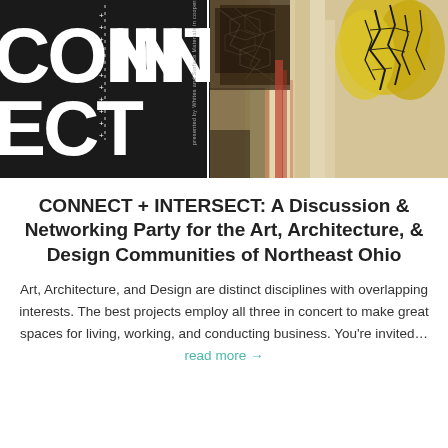[Figure (illustration): Header image split into two panels: left panel is black with large white bold text reading CONNECT and INTERSECT with vertical dotted line and small vertical text 'presented by Whites and Surface Materials in cooperation w...'; right panel shows an abstract artwork with yellow, brown, black, red and white mixed media painting]
CONNECT + INTERSECT: A Discussion & Networking Party for the Art, Architecture, & Design Communities of Northeast Ohio
Art, Architecture, and Design are distinct disciplines with overlapping interests. The best projects employ all three in concert to make great spaces for living, working, and conducting business. You're invited… read more →